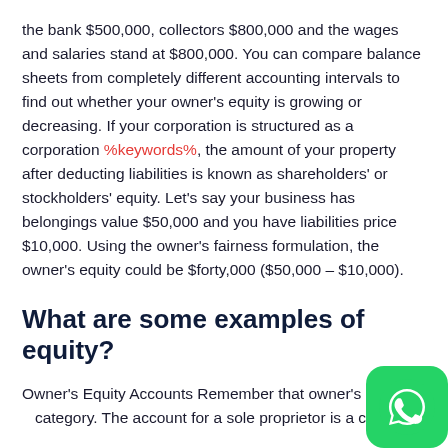the bank $500,000, collectors $800,000 and the wages and salaries stand at $800,000. You can compare balance sheets from completely different accounting intervals to find out whether your owner's equity is growing or decreasing. If your corporation is structured as a corporation %keywords%, the amount of your property after deducting liabilities is known as shareholders' or stockholders' equity. Let's say your business has belongings value $50,000 and you have liabilities price $10,000. Using the owner's fairness formulation, the owner's equity could be $forty,000 ($50,000 – $10,000).
What are some examples of equity?
Owner's Equity Accounts Remember that owner's equity is a category. The account for a sole proprietor is a capital